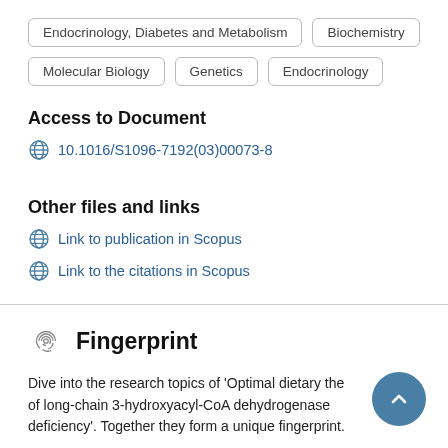Endocrinology, Diabetes and Metabolism
Biochemistry
Molecular Biology
Genetics
Endocrinology
Access to Document
10.1016/S1096-7192(03)00073-8
Other files and links
Link to publication in Scopus
Link to the citations in Scopus
Fingerprint
Dive into the research topics of 'Optimal dietary the of long-chain 3-hydroxyacyl-CoA dehydrogenase deficiency'. Together they form a unique fingerprint.